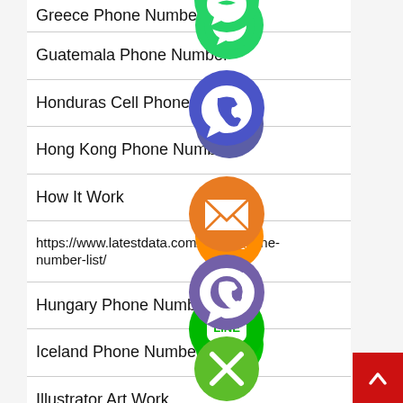Greece Phone Number
Guatemala Phone Number
Honduras Cell Phone Numbers
Hong Kong Phone Number
How It Work
https://www.latestdata.com/egypt-phone-number-list/
Hungary Phone Number
Iceland Phone Number
Illustrator Art Work
[Figure (infographic): Vertical stack of social media / messaging icons: WhatsApp (green), Viber/phone (blue-purple), email envelope (orange), LINE (green), Viber (purple), close X (green). Each is a circular icon overlaid on the list items.]